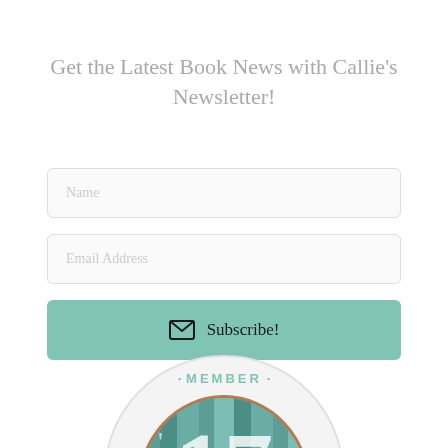Get the Latest Book News with Callie's Newsletter!
[Figure (infographic): Newsletter signup form with Name and Email Address input fields and a teal Subscribe! button with envelope icon]
[Figure (logo): Circular member badge with teal text 'MEMBER' at top with dots, inner oval frame with teal book background, large white number '17' and a quotation mark]